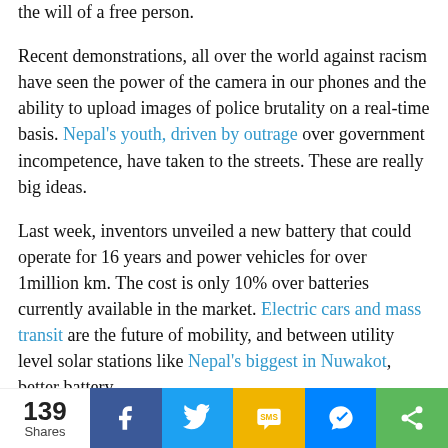the will of a free person.
Recent demonstrations, all over the world against racism have seen the power of the camera in our phones and the ability to upload images of police brutality on a real-time basis. Nepal's youth, driven by outrage over government incompetence, have taken to the streets. These are really big ideas.
Last week, inventors unveiled a new battery that could operate for 16 years and power vehicles for over 1million km. The cost is only 10% over batteries currently available in the market. Electric cars and mass transit are the future of mobility, and between utility level solar stations like Nepal's biggest in Nuwakot, better battery,